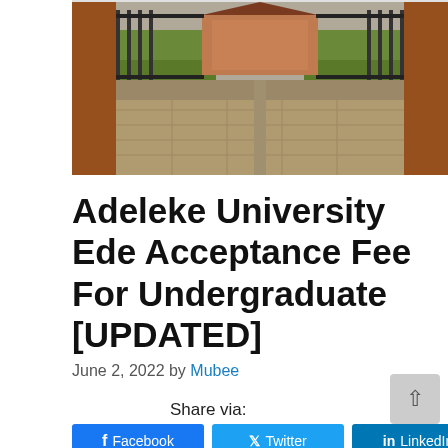[Figure (photo): Entrance gate of Adeleke University Ede, showing brick pillars, iron gates, paved driveway, greenery and shrubs]
Adeleke University Ede Acceptance Fee For Undergraduate [UPDATED]
June 2, 2022 by Mubee
Share via:
Facebook   Twitter   LinkedIn